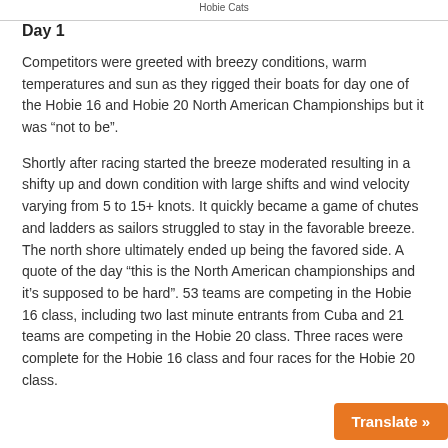Hobie Cats
Day 1
Competitors were greeted with breezy conditions, warm temperatures and sun as they rigged their boats for day one of the Hobie 16 and Hobie 20 North American Championships but it was “not to be”.
Shortly after racing started the breeze moderated resulting in a shifty up and down condition with large shifts and wind velocity varying from 5 to 15+ knots. It quickly became a game of chutes and ladders as sailors struggled to stay in the favorable breeze. The north shore ultimately ended up being the favored side. A quote of the day “this is the North American championships and it’s supposed to be hard”. 53 teams are competing in the Hobie 16 class, including two last minute entrants from Cuba and 21 teams are competing in the Hobie 20 class. Three races were comp… 16 class and four races for the Hobie 20 cla…